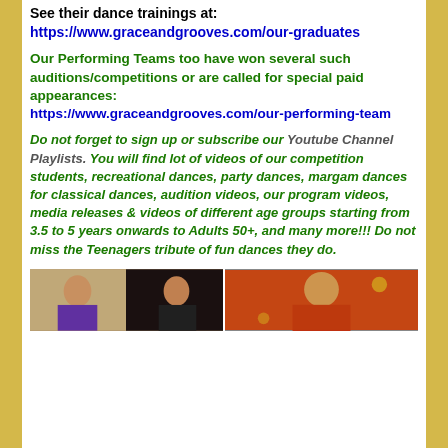See their dance trainings at: https://www.graceandgrooves.com/our-graduates
Our Performing Teams too have won several such auditions/competitions or are called for special paid appearances: https://www.graceandgrooves.com/our-performing-team
Do not forget to sign up or subscribe our Youtube Channel Playlists. You will find lot of videos of our competition students, recreational dances, party dances, margam dances for classical dances, audition videos, our program videos, media releases & videos of different age groups starting from 3.5 to 5 years onwards to Adults 50+, and many more!!! Do not miss the Teenagers tribute of fun dances they do.
[Figure (photo): Two photos side by side: left shows a person in traditional attire, right shows a person in a red and gold costume performing a dance]